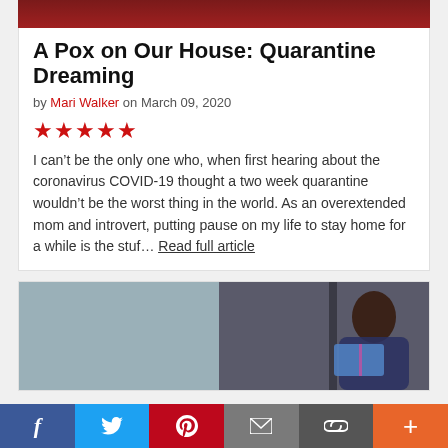[Figure (photo): Top portion of a reddish-brown header image (cropped)]
A Pox on Our House: Quarantine Dreaming
by Mari Walker on March 09, 2020
[Figure (other): Five red stars rating]
I can’t be the only one who, when first hearing about the coronavirus COVID-19 thought a two week quarantine wouldn’t be the worst thing in the world. As an overextended mom and introvert, putting pause on my life to stay home for a while is the stuf… Read full article
[Figure (photo): Photo of a person (woman) reading or holding a book, blurred background]
f  t  p  ✉  ∞  +